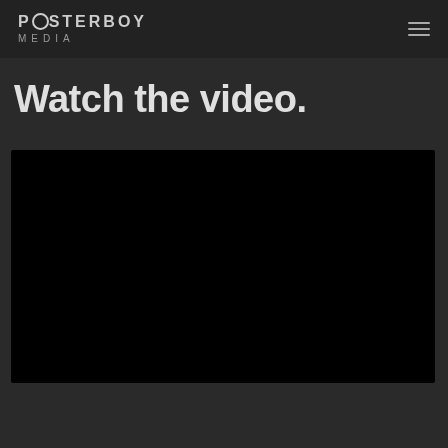POSTERBOY MEDIA
Watch the video.
[Figure (screenshot): Black video player embed area, completely dark/black rectangle representing a video player]